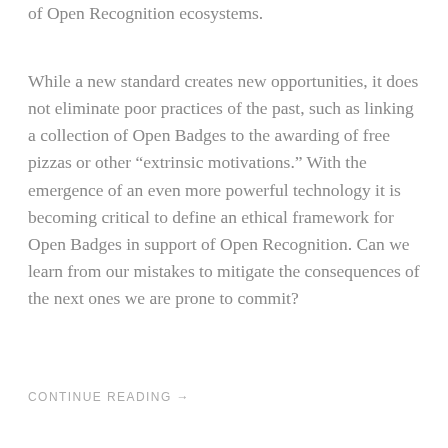of Open Recognition ecosystems.
While a new standard creates new opportunities, it does not eliminate poor practices of the past, such as linking a collection of Open Badges to the awarding of free pizzas or other “extrinsic motivations.” With the emergence of an even more powerful technology it is becoming critical to define an ethical framework for Open Badges in support of Open Recognition. Can we learn from our mistakes to mitigate the consequences of the next ones we are prone to commit?
CONTINUE READING →